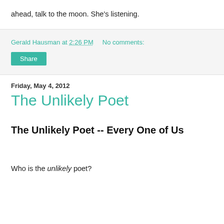ahead, talk to the moon. She's listening.
Gerald Hausman at 2:26 PM    No comments:
Share
Friday, May 4, 2012
The Unlikely Poet
The Unlikely Poet -- Every One of Us
Who is the unlikely poet?